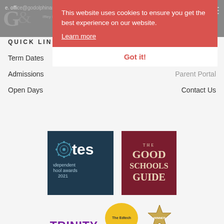e. office@godolphinandlatymer.com
This website uses cookies to ensure you get the best experience on our website.
Learn more
Got it!
QUICK LINKS
Term Dates
Vacancies
Admissions
Parent Portal
Open Days
Contact Us
[Figure (logo): TES independent school awards 2021 logo on dark navy background]
[Figure (logo): The Good Schools Guide logo on dark red background]
[Figure (logo): TRINITY logo in purple]
[Figure (logo): The Edtech circular badge in yellow]
[Figure (logo): Winner badge/seal in gold]